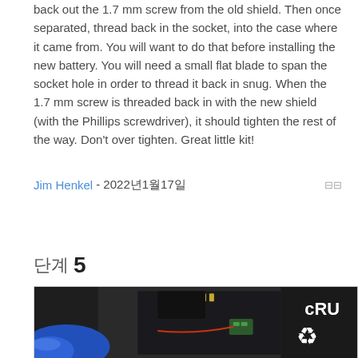back out the 1.7 mm screw from the old shield. Then once separated, thread back in the socket, into the case where it came from. You will want to do that before installing the new battery. You will need a small flat blade to span the socket hole in order to thread it back in snug. When the 1.7 mm screw is threaded back in with the new shield (with the Phillips screwdriver), it should tighten the rest of the way. Don't over tighten. Great little kit!
Jim Henkel - 2022년1월17일
단계 5
[Figure (photo): Close-up photo of laptop internals showing circuit board and battery, with a blue prying tool visible at the bottom left corner.]